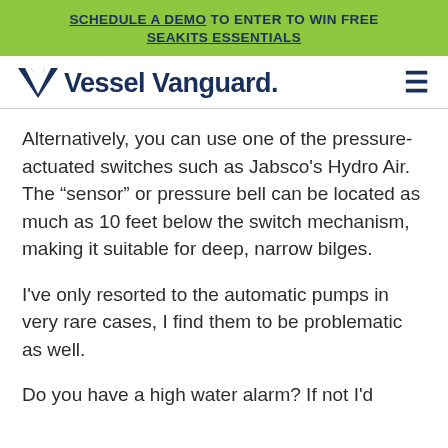SCHEDULE A DEMO TO ENTER TO WIN FREE SEAKITS ESSENTIALS
[Figure (logo): Vessel Vanguard logo with chevron V mark and hamburger menu icon]
Alternatively, you can use one of the pressure-actuated switches such as Jabsco’s Hydro Air.  The “sensor” or pressure bell can be located as much as 10 feet below the switch mechanism, making it suitable for deep, narrow bilges.
I’ve only resorted to the automatic pumps in very rare cases, I find them to be problematic as well.
Do you have a high water alarm? If not I’d